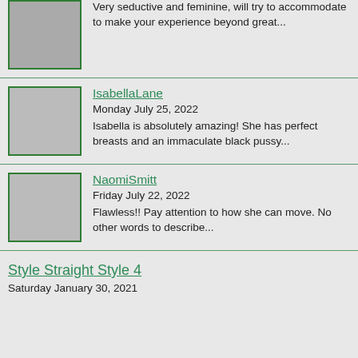[Figure (photo): Thumbnail image with green border, top-left entry]
Very seductive and feminine, will try to accommodate to make your experience beyond great...
[Figure (photo): Thumbnail image with green border, IsabellaLane entry]
IsabellaLane
Monday July 25, 2022
Isabella is absolutely amazing! She has perfect breasts and an immaculate black pussy...
[Figure (photo): Thumbnail image with green border, NaomiSmitt entry]
NaomiSmitt
Friday July 22, 2022
Flawless!! Pay attention to how she can move. No other words to describe...
Style Straight Style 4
Saturday January 30, 2021